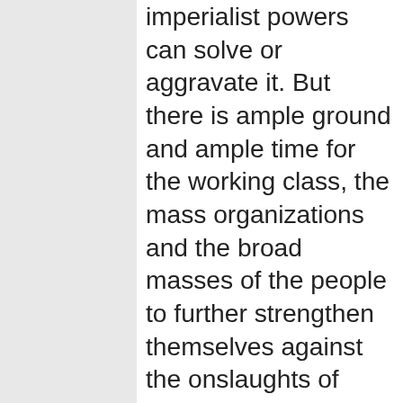imperialist powers can solve or aggravate it. But there is ample ground and ample time for the working class, the mass organizations and the broad masses of the people to further strengthen themselves against the onslaughts of monopoly capitalism and all reaction and carry out mass movements to make demands for basic social reforms in all countries and to wage revolutionary struggles in an ever-increasing number